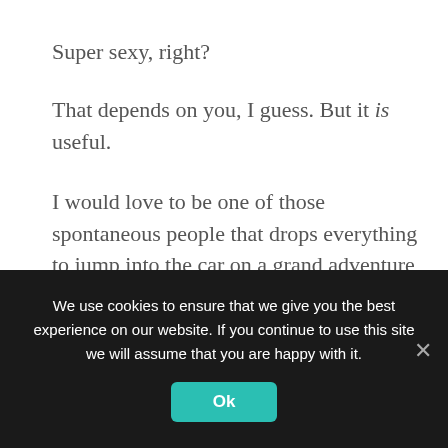Super sexy, right?
That depends on you, I guess. But it is useful.
I would love to be one of those spontaneous people that drops everything to jump into the car on a grand adventure with no pre-planning. But I am not that person. If I don't have plans on a Saturday I spend the day watching Netflix and staring at Insta-Stories.
We use cookies to ensure that we give you the best experience on our website. If you continue to use this site we will assume that you are happy with it.